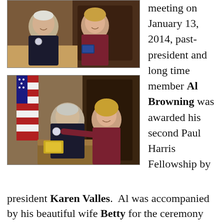[Figure (photo): Two people posing for a photo indoors; a man in a dark jacket with a pin and a woman in a maroon polo shirt holding a small box/award.]
meeting on January 13, 2014, past-president and long time member Al Browning was awarded his second Paul Harris Fellowship by
[Figure (photo): A man seated at a table with an American flag behind him and a woman in a maroon shirt standing beside him, appearing to pin something on his lapel.]
president Karen Valles.  Al was accompanied by his beautiful wife Betty for the ceremony